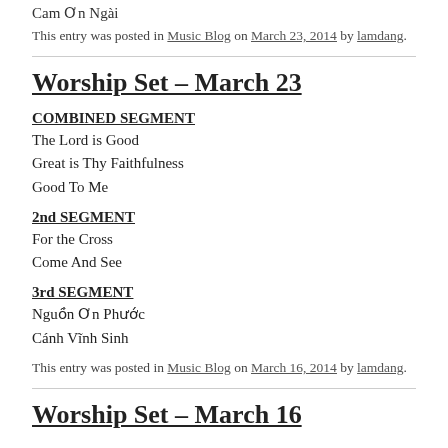Cam Ơn Ngài
This entry was posted in Music Blog on March 23, 2014 by lamdang.
Worship Set – March 23
COMBINED SEGMENT
The Lord is Good
Great is Thy Faithfulness
Good To Me
2nd SEGMENT
For the Cross
Come And See
3rd SEGMENT
Nguồn Ơn Phước
Cánh Vĩnh Sinh
This entry was posted in Music Blog on March 16, 2014 by lamdang.
Worship Set – March 16